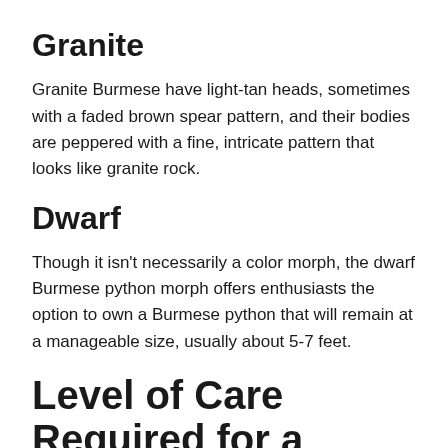Granite
Granite Burmese have light-tan heads, sometimes with a faded brown spear pattern, and their bodies are peppered with a fine, intricate pattern that looks like granite rock.
Dwarf
Though it isn't necessarily a color morph, the dwarf Burmese python morph offers enthusiasts the option to own a Burmese python that will remain at a manageable size, usually about 5-7 feet.
Level of Care Required for a Burmese Python
Due to their gigantic size, Burmese pythons are not recommended for beginner or intermediate snake